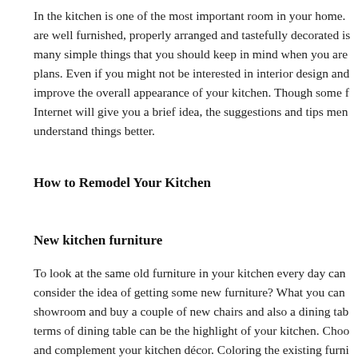In the kitchen is one of the most important room in your home. are well furnished, properly arranged and tastefully decorated is many simple things that you should keep in mind when you are plans. Even if you might not be interested in interior design and improve the overall appearance of your kitchen. Though some f Internet will give you a brief idea, the suggestions and tips men understand things better.
How to Remodel Your Kitchen
New kitchen furniture
To look at the same old furniture in your kitchen every day can consider the idea of getting some new furniture? What you can showroom and buy a couple of new chairs and also a dining tab terms of dining table can be the highlight of your kitchen. Choo and complement your kitchen décor. Coloring the existing furni don't want to spend a huge amount on the new kitchen furniture and trolleys to keep essential kitchen items such as grocery. You are attached to the walls in the kitchen to store more items. The